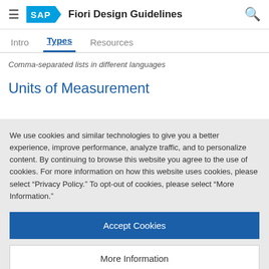SAP Fiori Design Guidelines
Types
Comma-separated lists in different languages
Units of Measurement
We use cookies and similar technologies to give you a better experience, improve performance, analyze traffic, and to personalize content. By continuing to browse this website you agree to the use of cookies. For more information on how this website uses cookies, please select “Privacy Policy.” To opt-out of cookies, please select “More Information.”
Accept Cookies
More Information
Privacy Policy | Powered by: TrustArc